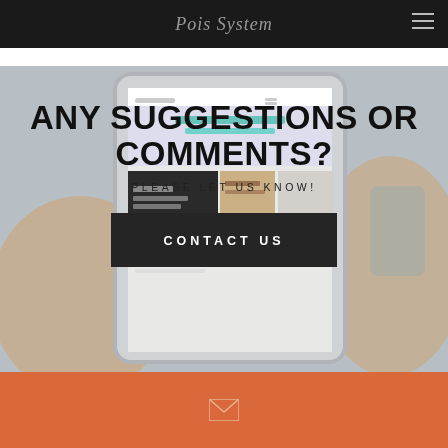Pois System
[Figure (illustration): Photograph of hands holding a tablet/iPad displaying a website layout, used as background image]
ANY SUGGESTIONS OR COMMENTS?
PLEASE LET US KNOW!
CONTACT US
[Figure (other): Email envelope icon on orange background]